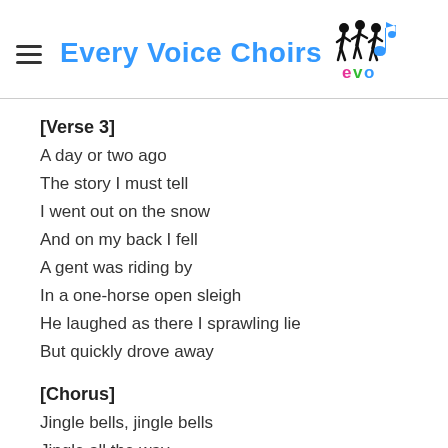Every Voice Choirs
[Verse 3]
A day or two ago
The story I must tell
I went out on the snow
And on my back I fell
A gent was riding by
In a one-horse open sleigh
He laughed as there I sprawling lie
But quickly drove away
[Chorus]
Jingle bells, jingle bells
Jingle all the way
Oh, what fun it is to ride
In a one-horse open sleigh, hey
Jingle bells, jingle bells
Jingle all the way